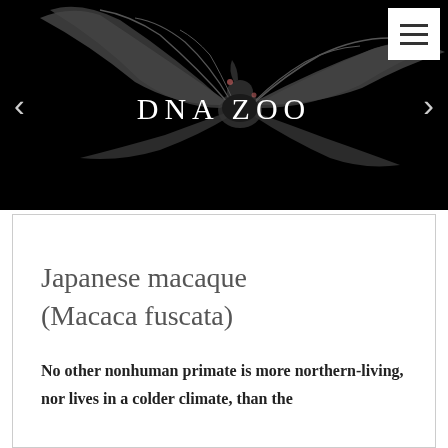[Figure (photo): A bat with wings spread wide against a black background, shown in flight. The DNA Zoo logo appears in white serif text overlay in the center.]
DNA ZOO
Japanese macaque (Macaca fuscata)
No other nonhuman primate is more northern-living, nor lives in a colder climate, than the